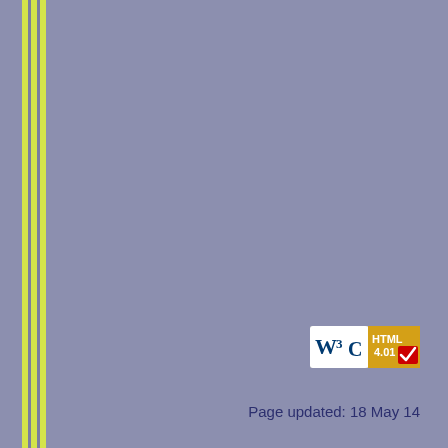[Figure (logo): W3C HTML 4.01 validation badge showing blue W3C logo on white background with orange HTML 4.01 label and red checkmark]
Page updated: 18 May 14